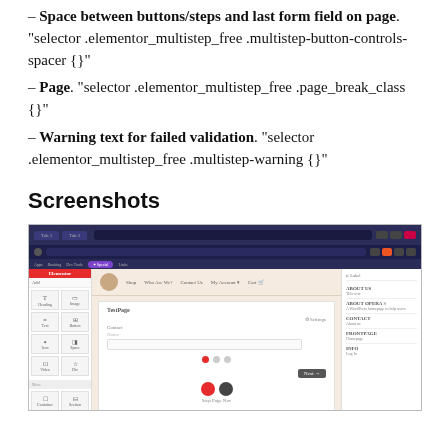– Space between buttons/steps and last form field on page. "selector .elementor_multistep_free .multistep-button-controls-spacer {}"
– Page. "selector .elementor_multistep_free .page_break_class {}"
– Warning text for failed validation. "selector .elementor_multistep_free .multistep-warning {}"
Screenshots
[Figure (screenshot): A screenshot of a web browser showing the Elementor page builder interface with a multi-step form on a webpage. The left sidebar shows Elementor widgets, the center shows a form page with input fields and navigation dots, and the right panel shows page settings/navigation items.]